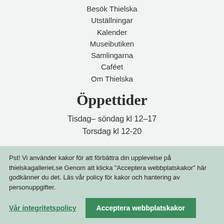Besök Thielska
Utställningar
Kalender
Museibutiken
Samlingarna
Caféet
Om Thielska
Öppettider
Tisdag– söndag kl 12–17
Torsdag kl 12-20
Pst! Vi använder kakor för att förbättra din upplevelse på thielskagalleriet.se Genom att klicka "Acceptera webbplatskakor" här godkänner du det. Läs vår policy för kakor och hantering av personuppgifter.
Vår integritetspolicy
Acceptera webbplatskakor